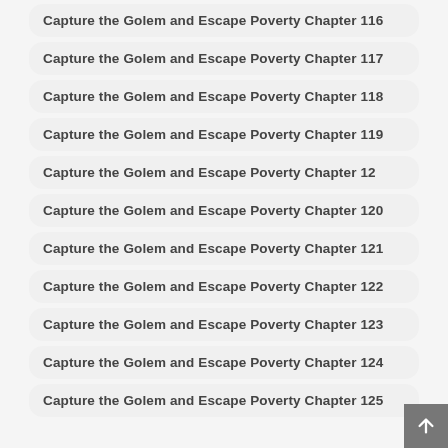Capture the Golem and Escape Poverty Chapter 116
Capture the Golem and Escape Poverty Chapter 117
Capture the Golem and Escape Poverty Chapter 118
Capture the Golem and Escape Poverty Chapter 119
Capture the Golem and Escape Poverty Chapter 12
Capture the Golem and Escape Poverty Chapter 120
Capture the Golem and Escape Poverty Chapter 121
Capture the Golem and Escape Poverty Chapter 122
Capture the Golem and Escape Poverty Chapter 123
Capture the Golem and Escape Poverty Chapter 124
Capture the Golem and Escape Poverty Chapter 125